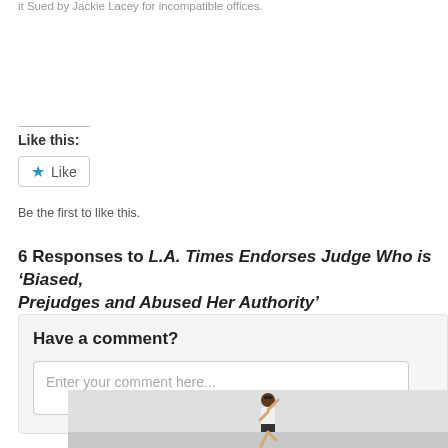it Sued by Jackie Lacey for incompatible offices.
Like this:
Like
Be the first to like this.
6 Responses to L.A. Times Endorses Judge Who is ‘Biased, Prejudges and Abused Her Authority’
Have a comment?
Enter your comment here...
[Figure (photo): Woman running, wearing white top and black shorts, photographed outdoors]